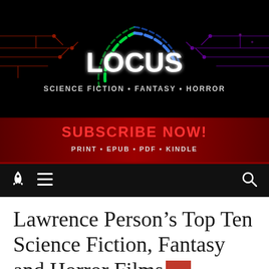[Figure (logo): Locus Magazine header banner with neon circuit design. Large 'LOCUS' text in white with colorful neon arc (green, blue, purple). Tagline: 'SCIENCE FICTION • FANTASY • HORROR'. Red subscribe bar below with 'SUBSCRIBE NOW!' and 'PRINT • EPUB • PDF • KINDLE'.]
🚀 ☰                                          🔍
Lawrence Person's Top Ten Science Fiction, Fantasy and Horror Films of 2000-2010